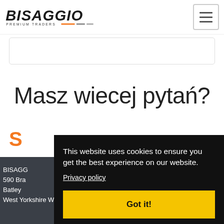BISAGGIO PREMIUM TRADERS — navigation header with hamburger menu
Masz wiecej pytań?
S...
BISAGGIO
590 Bra...
Batley
West Yorkshire WF17 8LR
This website uses cookies to ensure you get the best experience on our website.
Privacy policy
Got it!